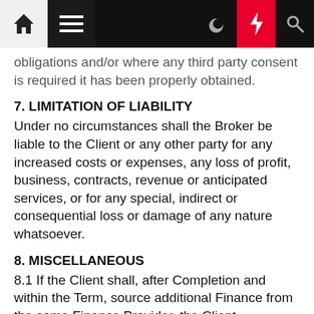[navigation bar with home, menu, moon, bolt, search icons]
obligations and/or where any third party consent is required it has been properly obtained.
7. LIMITATION OF LIABILITY
Under no circumstances shall the Broker be liable to the Client or any other party for any increased costs or expenses, any loss of profit, business, contracts, revenue or anticipated services, or for any special, indirect or consequential loss or damage of any nature whatsoever.
8. MISCELLANEOUS
8.1 If the Client shall, after Completion and within the Term, source additional Finance from the same Finance Provider, the Client authorises The Finance Provider to pay The Broker a further Fee for t he further Finance raised.
8.2 The Client shall act towards the Broker with the